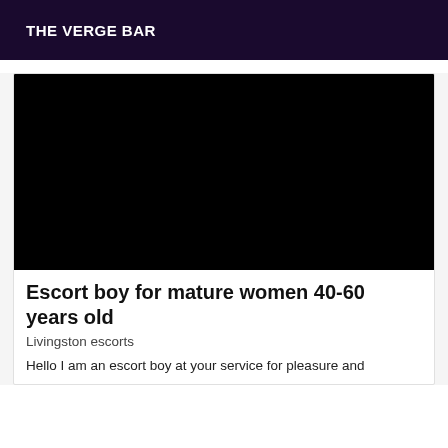THE VERGE BAR
[Figure (photo): Black image placeholder for an escort listing photo]
Escort boy for mature women 40-60 years old
Livingston escorts
Hello I am an escort boy at your service for pleasure and